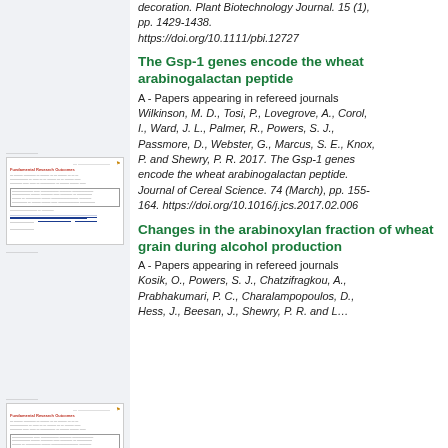decoration. Plant Biotechnology Journal. 15 (1), pp. 1429-1438. https://doi.org/10.1111/pbi.12727
[Figure (screenshot): Thumbnail of a research output page for 'The Gsp-1 genes encode the wheat arabinogalactan peptide']
The Gsp-1 genes encode the wheat arabinogalactan peptide
A - Papers appearing in refereed journals
Wilkinson, M. D., Tosi, P., Lovegrove, A., Corol, I., Ward, J. L., Palmer, R., Powers, S. J., Passmore, D., Webster, G., Marcus, S. E., Knox, P. and Shewry, P. R. 2017. The Gsp-1 genes encode the wheat arabinogalactan peptide. Journal of Cereal Science. 74 (March), pp. 155-164. https://doi.org/10.1016/j.jcs.2017.02.006
[Figure (screenshot): Thumbnail of a research output page for 'Changes in the arabinoxylan fraction of wheat grain during alcohol production']
Changes in the arabinoxylan fraction of wheat grain during alcohol production
A - Papers appearing in refereed journals
Kosik, O., Powers, S. J., Chatzifragkou, A., Prabhakumari, P. C., Charalampopoulos, D., Hess, J., Beesan, J., Shewry, P. R. and Lovegrove, A.